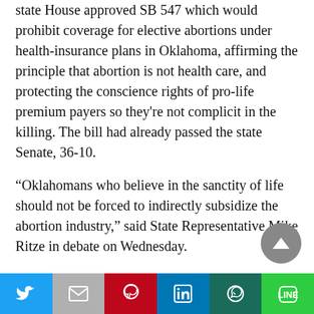state House approved SB 547 which would prohibit coverage for elective abortions under health-insurance plans in Oklahoma, affirming the principle that abortion is not health care, and protecting the conscience rights of pro-life premium payers so they're not complicit in the killing. The bill had already passed the state Senate, 36-10.
“Oklahomans who believe in the sanctity of life should not be forced to indirectly subsidize the abortion industry,” said State Representative Mike Ritze in debate on Wednesday.
[Figure (other): Social media sharing bar with Twitter, Gmail, Pinterest, LinkedIn, WhatsApp, and Line buttons]